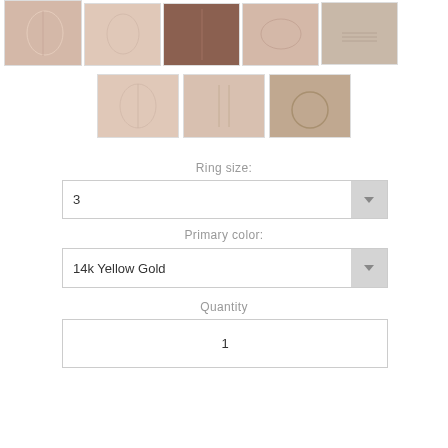[Figure (photo): Grid of 8 product thumbnail photos showing rings on fingers - top row of 5, second row of 3]
Ring size:
3
Primary color:
14k Yellow Gold
Quantity
1